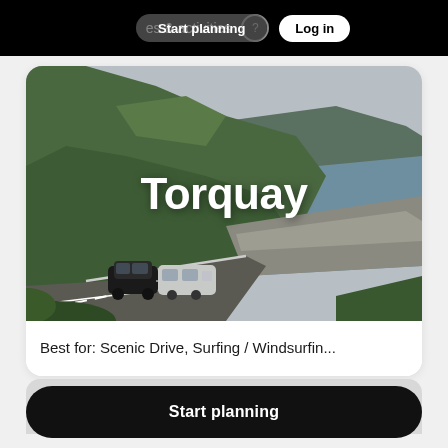Start planning   places & activities   Log in
[Figure (photo): Aerial coastal road scene near Torquay, Australia. A black SUV towing a silver caravan drives along a winding coastal road flanked by green hillside vegetation on the left and rocky coastline and ocean on the right. Overcast sky.]
Torquay
Best for: Scenic Drive, Surfing / Windsurfin...
[Figure (photo): Partially visible second location card with light grey background.]
Start planning